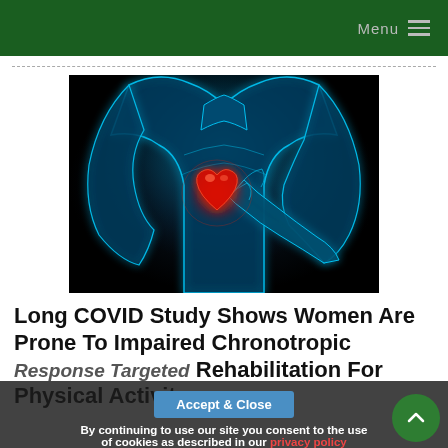Menu
[Figure (photo): X-ray style blue glowing human torso with hands clasped over chest area where a red glowing heart is visible, on black background.]
Long COVID Study Shows Women Are Prone To Impaired Chronotropic Response Targeted Rehabilitation For Physical Activity